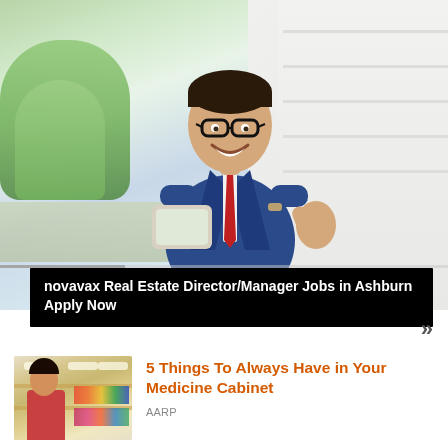[Figure (photo): A smiling man in a blue suit and red tie, wearing glasses, giving a thumbs up and holding a tablet, standing outdoors near a building. Video slideshow with playback controls and progress bar at bottom.]
novavax Real Estate Director/Manager Jobs in Ashburn Apply Now
[Figure (photo): A woman browsing products in a pharmacy or store aisle, with blurred colorful shelves in background.]
5 Things To Always Have in Your Medicine Cabinet
AARP